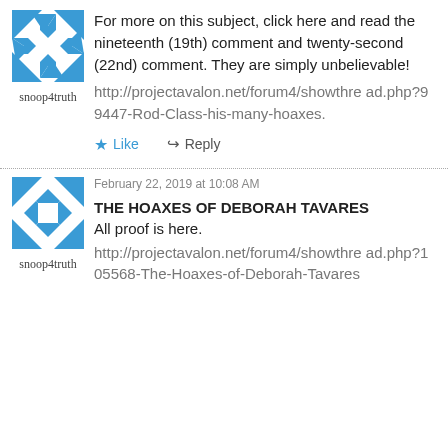[Figure (illustration): Blue and white geometric avatar icon for user snoop4truth]
snoop4truth
For more on this subject, click here and read the nineteenth (19th) comment and twenty-second (22nd) comment. They are simply unbelievable!
http://projectavalon.net/forum4/showthread.php?99447-Rod-Class-his-many-hoaxes.
Like
Reply
[Figure (illustration): Blue and white geometric avatar icon for user snoop4truth (second comment)]
snoop4truth
February 22, 2019 at 10:08 AM
THE HOAXES OF DEBORAH TAVARES
All proof is here.
http://projectavalon.net/forum4/showthread.php?105568-The-Hoaxes-of-Deborah-Tavares